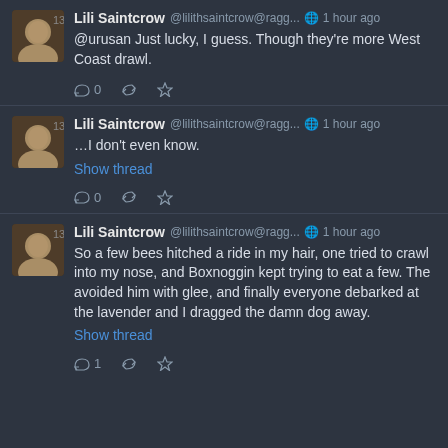[Figure (screenshot): Twitter/social media feed screenshot showing three tweets from Lili Saintcrow]
Lili Saintcrow @lilithsaintcrow@ragg... 1 hour ago
@urusan Just lucky, I guess. Though they're more West Coast drawl.
Lili Saintcrow @lilithsaintcrow@ragg... 1 hour ago
…I don't even know.
Show thread
Lili Saintcrow @lilithsaintcrow@ragg... 1 hour ago
So a few bees hitched a ride in my hair, one tried to crawl into my nose, and Boxnoggin kept trying to eat a few. The avoided him with glee, and finally everyone debarked at the lavender and I dragged the damn dog away.
Show thread